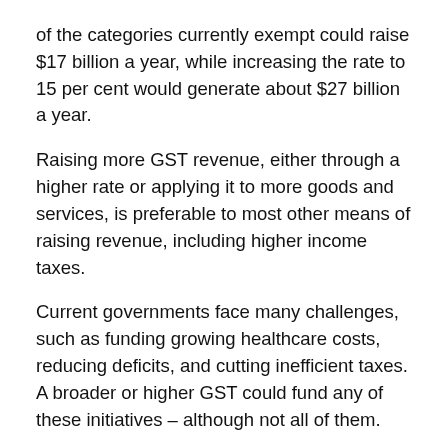of the categories currently exempt could raise $17 billion a year, while increasing the rate to 15 per cent would generate about $27 billion a year.
Raising more GST revenue, either through a higher rate or applying it to more goods and services, is preferable to most other means of raising revenue, including higher income taxes.
Current governments face many challenges, such as funding growing healthcare costs, reducing deficits, and cutting inefficient taxes. A broader or higher GST could fund any of these initiatives – although not all of them.
Broadening the GST base to include fresh food, health and education would be more efficient, and would reduce compliance costs.
But if the politics of taxing those categories proves